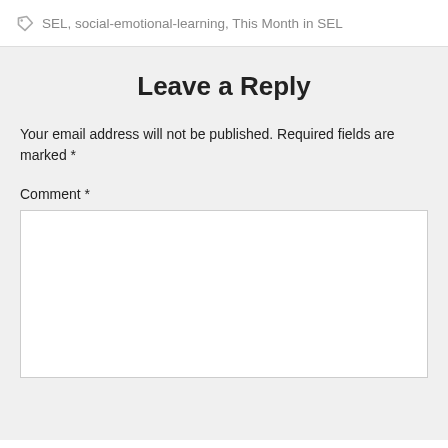SEL, social-emotional-learning, This Month in SEL
Leave a Reply
Your email address will not be published. Required fields are marked *
Comment *